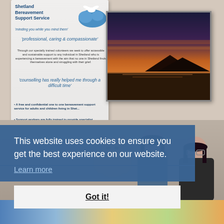[Figure (photo): Photo of two women and a teddy bear in front of Shetland Bereavement Support Service banner, with a sunset painting on the wall behind them. A cookie consent overlay appears in the lower portion of the image.]
This website uses cookies to ensure you get the best experience on our website.
Learn more
Got it!